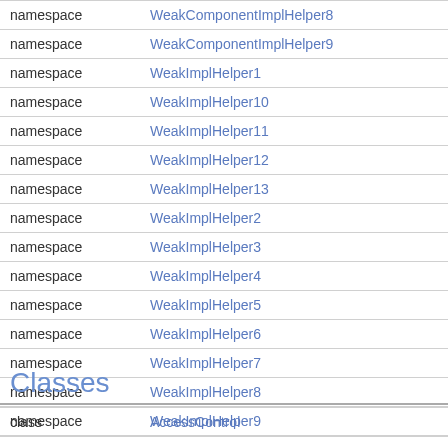| Type | Name |
| --- | --- |
| namespace | WeakComponentImplHelper8 |
| namespace | WeakComponentImplHelper9 |
| namespace | WeakImplHelper1 |
| namespace | WeakImplHelper10 |
| namespace | WeakImplHelper11 |
| namespace | WeakImplHelper12 |
| namespace | WeakImplHelper13 |
| namespace | WeakImplHelper2 |
| namespace | WeakImplHelper3 |
| namespace | WeakImplHelper4 |
| namespace | WeakImplHelper5 |
| namespace | WeakImplHelper6 |
| namespace | WeakImplHelper7 |
| namespace | WeakImplHelper8 |
| namespace | WeakImplHelper9 |
Classes
| Type | Name |
| --- | --- |
| class | AccessControl |